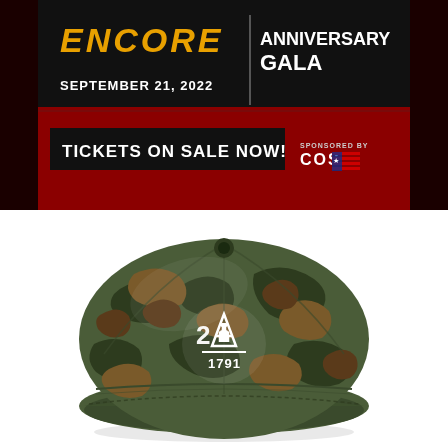[Figure (photo): Event banner for ENCORE Anniversary Gala on September 21, 2022. Dark background with red and black sections. Text reads: ENCORE | ANNIVERSARY GALA | SEPTEMBER 21, 2022 | TICKETS ON SALE NOW! | SPONSORED BY COS (with American flag logo)]
[Figure (photo): A woodland camouflage baseball cap with white embroidered logo showing '2A' with a rifle silhouette incorporated into the letter A, and '1791' below a horizontal line. The cap is photographed from the front against a white background.]